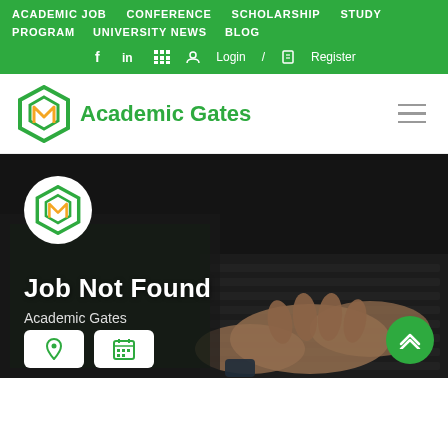ACADEMIC JOB  CONFERENCE  SCHOLARSHIP  STUDY PROGRAM  UNIVERSITY NEWS  BLOG  f  in  Login / Register
[Figure (logo): Academic Gates logo with hexagonal icon in green and yellow/orange, and text 'Academic Gates' in green]
[Figure (photo): Dark background photo showing person's hands typing on a MacBook laptop, with headphones and keyboard visible]
[Figure (logo): Academic Gates circular logo (white circle with green and yellow hexagonal icon) overlaid on hero photo]
Job Not Found
Academic Gates